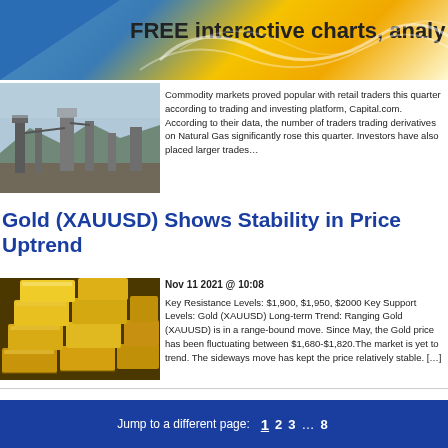FREE interactive charts, analy
[Figure (photo): Industrial facility with metal towers and machinery, outdoor setting]
Commodity markets proved popular with retail traders this quarter according to trading and investing platform, Capital.com. According to their data, the number of traders trading derivatives on Natural Gas significantly rose this quarter. Investors have also placed larger trades […]
Gold (XAUUSD) Shows Stability in Price Uptrend
[Figure (photo): Stack of gold bars/bullion photographed close up]
Nov 11 2021 @ 10:08
Key Resistance Levels: $1,900, $1,950, $2000 Key Support Levels: Gold (XAUUSD) Long-term Trend: Ranging Gold (XAUUSD) is in a range-bound move. Since May, the Gold price has been fluctuating between $1,680-$1,820.The market is yet to trend. The sideways move has kept the price relatively stable. […]
Jump to a different page: 1 2 3 … 8